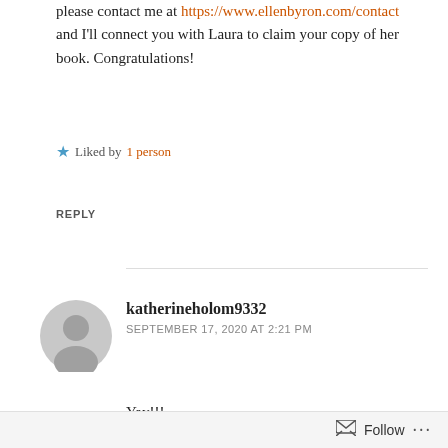please contact me at https://www.ellenbyron.com/contact and I'll connect you with Laura to claim your copy of her book. Congratulations!
Liked by 1 person
REPLY
katherineholom9332
SEPTEMBER 17, 2020 AT 2:21 PM
Yay!!!
Like
Follow ...